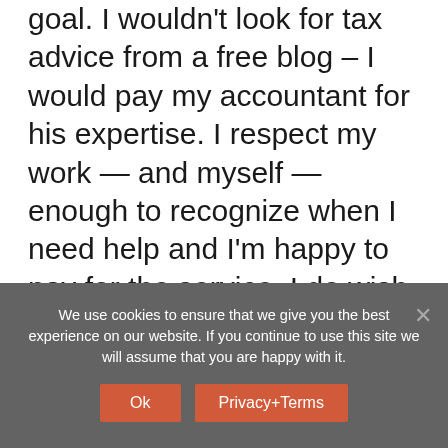goal. I wouldn't look for tax advice from a free blog – I would pay my accountant for his expertise. I respect my work — and myself — enough to recognize when I need help and I'm happy to pay for the service. I do wish, though, for a few good friends who would sit around the table with me, drinking a good wine, listening to good jazz, and arguing with the poets and the philosophers over the merits and challenges of our art forms until late into the night. Yes, I was born nearly a century too late.
We use cookies to ensure that we give you the best experience on our website. If you continue to use this site we will assume that you are happy with it.
Ok  Privacy+Terms